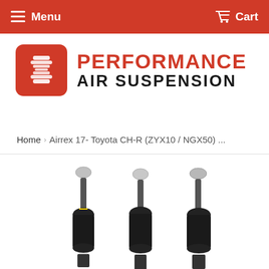Menu   Cart
[Figure (logo): Performance Air Suspension logo: red rounded square icon with suspension component graphic, next to bold text 'PERFORMANCE' in red and 'AIR SUSPENSION' in black]
Home  ›  Airrex 17- Toyota CH-R (ZYX10 / NGX50) ...
[Figure (photo): Product photo showing Airrex air suspension struts/coilovers for Toyota CH-R, black spring/shock assemblies with silver top mounts, partially cropped at bottom of page]